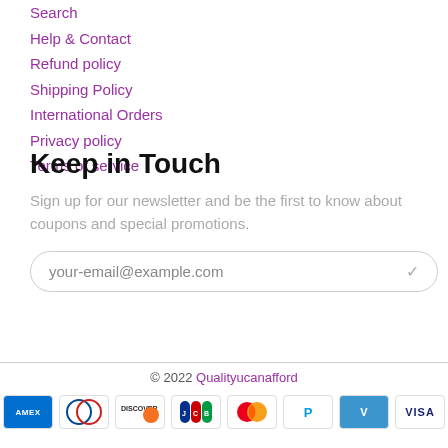Search
Help & Contact
Refund policy
Shipping Policy
International Orders
Privacy policy
Terms of service
Keep in Touch
Sign up for our newsletter and be the first to know about coupons and special promotions.
your-email@example.com
© 2022 Qualityucanafford
[Figure (other): Payment method icons: American Express, Diners Club, Discover, JCB, Mastercard, PayPal, Venmo, Visa]